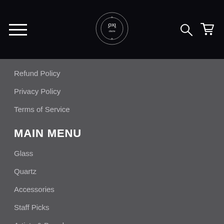Navigation header with hamburger menu, logo, search and cart icons
Refund Policy
Privacy Policy
Terms of Service
MAIN MENU
Glass
Quartz
Accessories
Staff Picks
Artists & Brands
GET SOCIAL